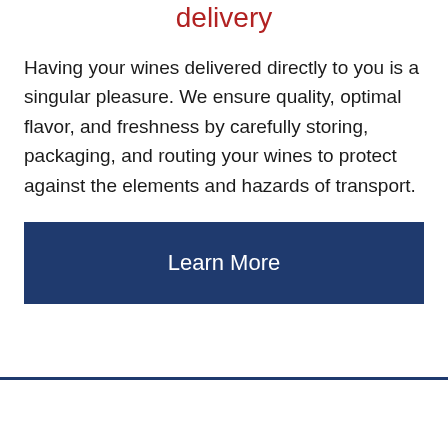Enjoy the convenience of home or office delivery
Having your wines delivered directly to you is a singular pleasure. We ensure quality, optimal flavor, and freshness by carefully storing, packaging, and routing your wines to protect against the elements and hazards of transport.
Learn More